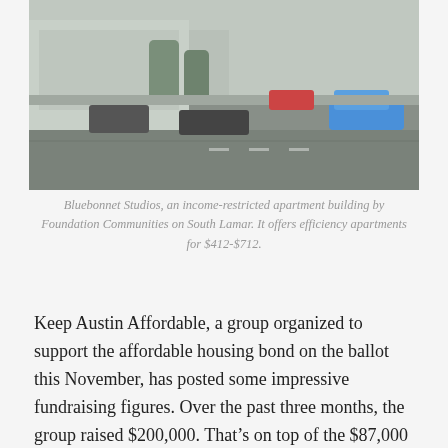[Figure (photo): Street-level photo showing a road with cars, likely South Lamar Boulevard, with a building visible in the background. A blue car is visible on the right side.]
Bluebonnet Studios, an income-restricted apartment building by Foundation Communities on South Lamar. It offers efficiency apartments for $412-$712.
Keep Austin Affordable, a group organized to support the affordable housing bond on the ballot this November, has posted some impressive fundraising figures. Over the past three months, the group raised $200,000. That’s on top of the $87,000 that it raised during the first half of the year.
More than half of the money has come from developers